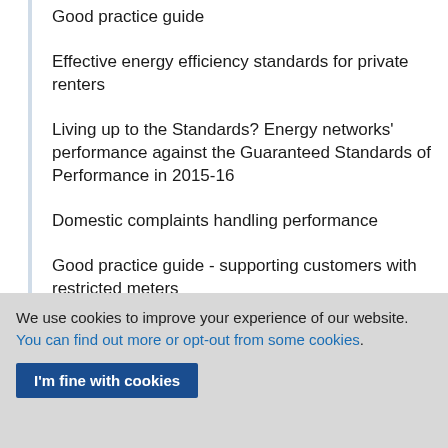Good practice guide
Effective energy efficiency standards for private renters
Living up to the Standards? Energy networks' performance against the Guaranteed Standards of Performance in 2015-16
Domestic complaints handling performance
Good practice guide - supporting customers with restricted meters
Consultation on changes to the Citizens Advice
We use cookies to improve your experience of our website. You can find out more or opt-out from some cookies.
I'm fine with cookies